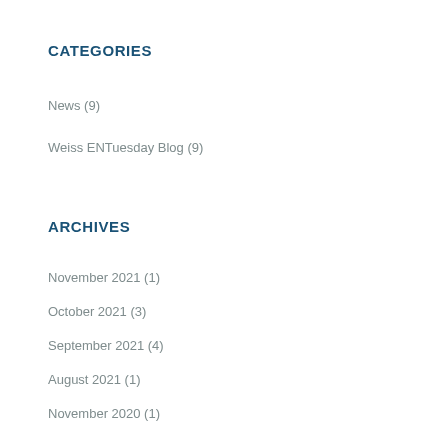CATEGORIES
News (9)
Weiss ENTuesday Blog (9)
ARCHIVES
November 2021 (1)
October 2021 (3)
September 2021 (4)
August 2021 (1)
November 2020 (1)
May 2020 (1)
March 2020 (1)